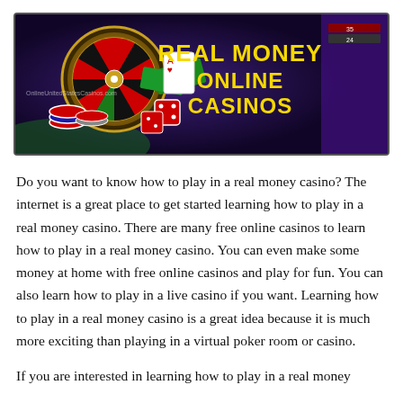[Figure (illustration): Banner image showing a roulette wheel with casino chips, dice, and playing cards on a purple/dark background. Text on the right reads 'REAL MONEY ONLINE CASINOS' in bold yellow letters. Small watermark text in bottom-left area.]
Do you want to know how to play in a real money casino? The internet is a great place to get started learning how to play in a real money casino. There are many free online casinos to learn how to play in a real money casino. You can even make some money at home with free online casinos and play for fun. You can also learn how to play in a live casino if you want. Learning how to play in a real money casino is a great idea because it is much more exciting than playing in a virtual poker room or casino.
If you are interested in learning how to play in a real money